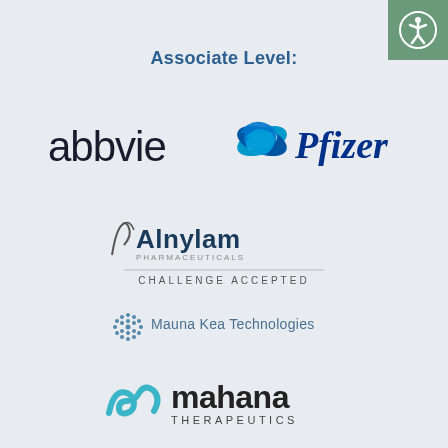Associate Level:
[Figure (logo): AbbVie company logo in dark navy/black text]
[Figure (logo): Pfizer company logo with blue swirl icon and blue italic text]
[Figure (logo): Alnylam Pharmaceuticals logo with tagline CHALLENGE ACCEPTED]
[Figure (logo): Mauna Kea Technologies logo with dot-grid circle icon]
[Figure (logo): Mahana Therapeutics logo with teal wave/loop icon]